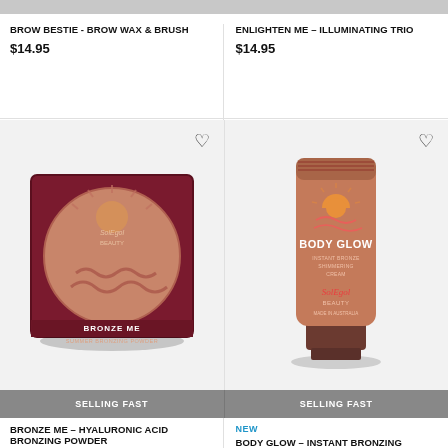BROW BESTIE - BROW WAX & BRUSH
$14.95
ENLIGHTEN ME - ILLUMINATING TRIO
$14.95
[Figure (photo): Bronze Me Summer Bronzing Powder compact in dark red square case with circular pressed powder showing sun/wave design. SolEgol Beauty branded.]
[Figure (photo): Body Glow Instant Bronze Shimmering Cream tube product in warm brown/terracotta color with sun logo. SolEgol Beauty branded.]
SELLING FAST
SELLING FAST
NEW
BRONZE ME – HYALURONIC ACID BRONZING POWDER
BODY GLOW – INSTANT BRONZING LOTION 150ML